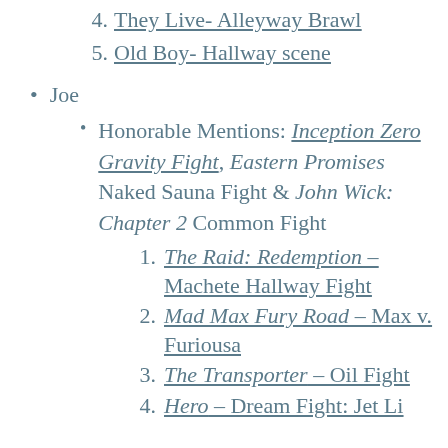4. They Live- Alleyway Brawl
5. Old Boy- Hallway scene
Joe
Honorable Mentions: Inception Zero Gravity Fight, Eastern Promises Naked Sauna Fight & John Wick: Chapter 2 Common Fight
1. The Raid: Redemption – Machete Hallway Fight
2. Mad Max Fury Road – Max v. Furiousa
3. The Transporter – Oil Fight
4. Hero – Dream Fight: Jet Li